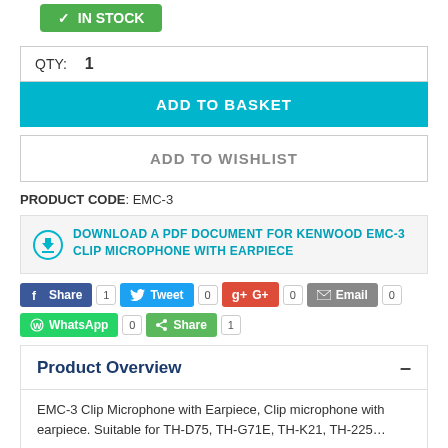[Figure (screenshot): Green 'Add to Cart' button (partial, top of page)]
QTY: 1
ADD TO BASKET
ADD TO WISHLIST
PRODUCT CODE: EMC-3
DOWNLOAD A PDF DOCUMENT FOR KENWOOD EMC-3 CLIP MICROPHONE WITH EARPIECE
[Figure (screenshot): Social sharing buttons: Facebook Share (1), Tweet (0), G+ (0), Email (0), WhatsApp (0), Share (1)]
Product Overview
EMC-3 Clip Microphone with Earpiece, Clip microphone with earpiece. Suitable for TH-D75, TH-G71E, TH-K21, TH-225...